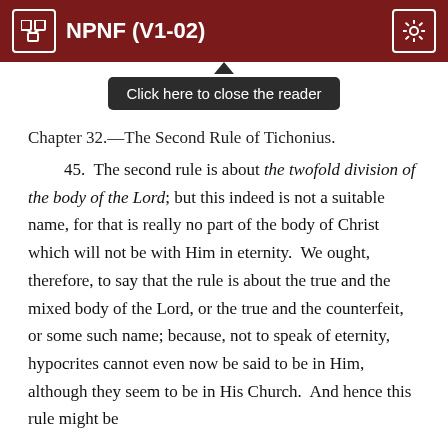NPNF (V1-02)
Click here to close the reader
Chapter 32.—The Second Rule of Tichonius.
45.  The second rule is about the twofold division of the body of the Lord; but this indeed is not a suitable name, for that is really no part of the body of Christ which will not be with Him in eternity.  We ought, therefore, to say that the rule is about the true and the mixed body of the Lord, or the true and the counterfeit, or some such name; because, not to speak of eternity, hypocrites cannot even now be said to be in Him, although they seem to be in His Church.  And hence this rule might be